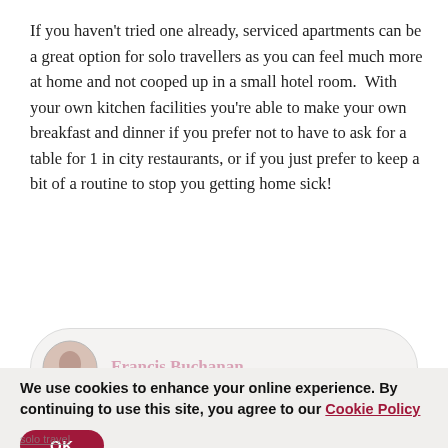If you haven't tried one already, serviced apartments can be a great option for solo travellers as you can feel much more at home and not cooped up in a small hotel room.  With your own kitchen facilities you're able to make your own breakfast and dinner if you prefer not to have to ask for a table for 1 in city restaurants, or if you just prefer to keep a bit of a routine to stop you getting home sick!
[Figure (other): Partially visible author card showing a circular avatar photo and the name 'Francis Buchanan' in dark red/maroon text, with a subdued background, partially obscured by cookie banner overlay.]
We use cookies to enhance your online experience. By continuing to use this site, you agree to our Cookie Policy
OK